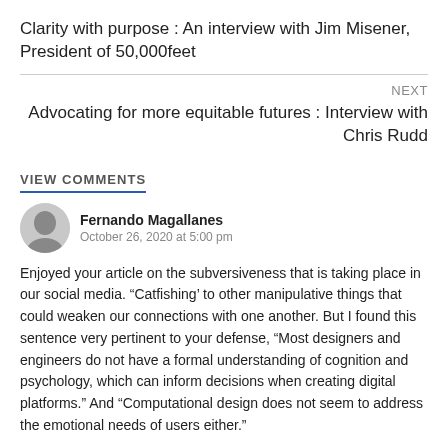Clarity with purpose : An interview with Jim Misener, President of 50,000feet
NEXT
Advocating for more equitable futures : Interview with Chris Rudd
VIEW COMMENTS
Fernando Magallanes
October 26, 2020 at 5:00 pm
Enjoyed your article on the subversiveness that is taking place in our social media. “Catfishing’ to other manipulative things that could weaken our connections with one another. But I found this sentence very pertinent to your defense, “Most designers and engineers do not have a formal understanding of cognition and psychology, which can inform decisions when creating digital platforms.” And “Computational design does not seem to address the emotional needs of users either.”